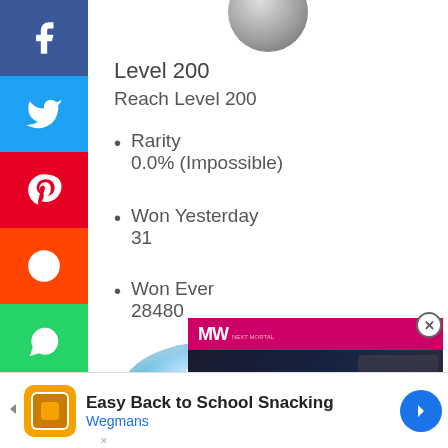[Figure (illustration): Social media share buttons sidebar: Facebook (blue), Twitter (light blue), Pinterest (red), Reddit (orange), WhatsApp (green)]
[Figure (photo): User avatar circle partially visible at top]
Level 200
Reach Level 200
Rarity
0.0% (Impossible)
Won Yesterday
31
Won Ever
28480
[Figure (illustration): Level 300 badge: metallic sphere with 'level' text and large red '30' visible]
[Figure (screenshot): FIFA 23 Release Date video ad overlay with MW logo, play button, soccer player photo]
[Figure (infographic): Easy Back to School Snacking - Wegmans advertisement banner]